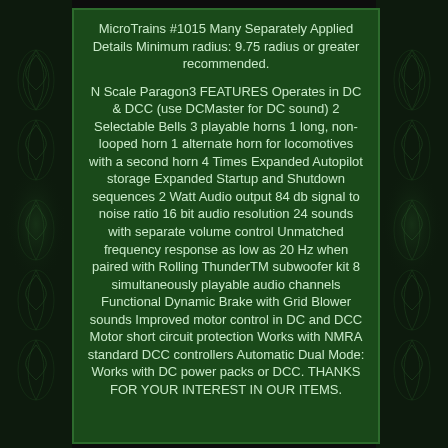MicroTrains #1015 Many Separately Applied Details Minimum radius: 9.75 radius or greater recommended.
N Scale Paragon3 FEATURES Operates in DC & DCC (use DCMaster for DC sound) 2 Selectable Bells 3 playable horns 1 long, non-looped horn 1 alternate horn for locomotives with a second horn 4 Times Expanded Autopilot storage Expanded Startup and Shutdown sequences 2 Watt Audio output 84 db signal to noise ratio 16 bit audio resolution 24 sounds with separate volume control Unmatched frequency response as low as 20 Hz when paired with Rolling ThunderTM subwoofer kit 8 simultaneously playable audio channels Functional Dynamic Brake with Grid Blower sounds Improved motor control in DC and DCC Motor short circuit protection Works with NMRA standard DCC controllers Automatic Dual Mode: Works with DC power packs or DCC. THANKS FOR YOUR INTEREST IN OUR ITEMS.